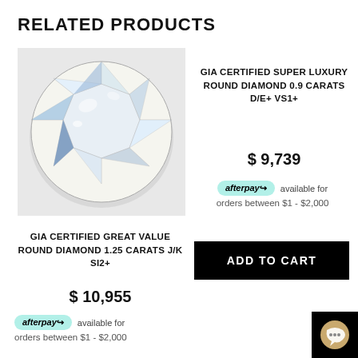RELATED PRODUCTS
[Figure (photo): Round brilliant cut diamond photographed from above on light grey background, showing facets with white/blue sparkle]
GIA CERTIFIED SUPER LUXURY ROUND DIAMOND 0.9 CARATS D/E+ VS1+
$ 9,739
afterpay available for orders between $1 - $2,000
GIA CERTIFIED GREAT VALUE ROUND DIAMOND 1.25 CARATS J/K SI2+
$ 10,955
afterpay available for orders between $1 - $2,000
ADD TO CART